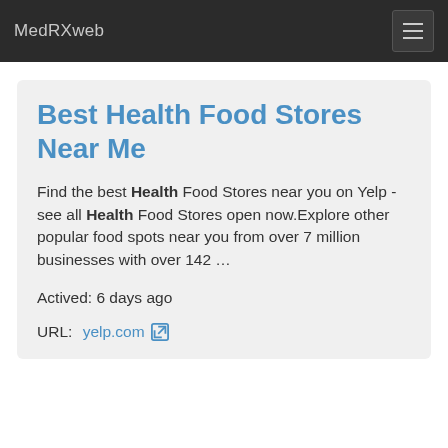MedRXweb
Best Health Food Stores Near Me
Find the best Health Food Stores near you on Yelp - see all Health Food Stores open now.Explore other popular food spots near you from over 7 million businesses with over 142 …
Actived: 6 days ago
URL: yelp.com